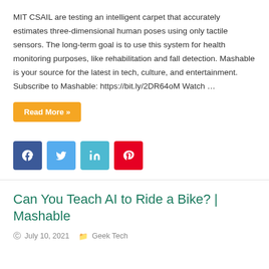MIT CSAIL are testing an intelligent carpet that accurately estimates three-dimensional human poses using only tactile sensors. The long-term goal is to use this system for health monitoring purposes, like rehabilitation and fall detection. Mashable is your source for the latest in tech, culture, and entertainment.   Subscribe to Mashable: https://bit.ly/2DR64oM Watch …
Read More »
[Figure (other): Social share buttons: Facebook (blue), Twitter (light blue), LinkedIn (teal), Pinterest (red)]
Can You Teach AI to Ride a Bike? | Mashable
July 10, 2021   Geek Tech